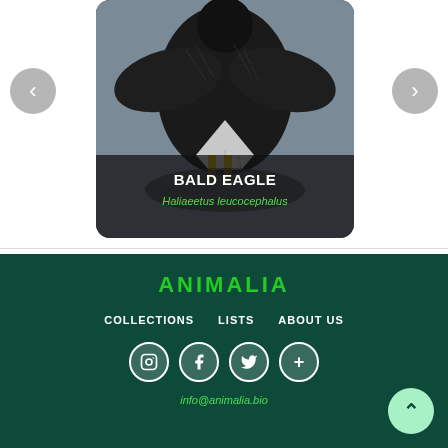[Figure (photo): Bald eagle perched, viewed from behind/side, dark feathers with white tail visible, blurred background. Image card with rounded corners showing animal name overlay.]
BALD EAGLE
Haliaeetus leucocephalus
ANIMALIA
COLLECTIONS   LISTS   ABOUT US
info@animalia.bio